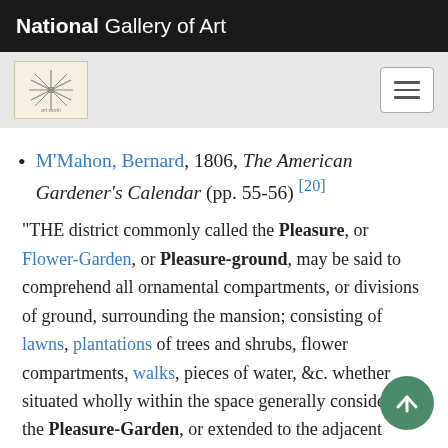National Gallery of Art
M'Mahon, Bernard, 1806, The American Gardener's Calendar (pp. 55-56) [20]
"THE district commonly called the Pleasure, or Flower-Garden, or Pleasure-ground, may be said to comprehend all ornamental compartments, or divisions of ground, surrounding the mansion; consisting of lawns, plantations of trees and shrubs, flower compartments, walks, pieces of water, &c. whether situated wholly within the space generally considered as the Pleasure-Garden, or extended to the adjacent fields, parks, or other out-grounds.